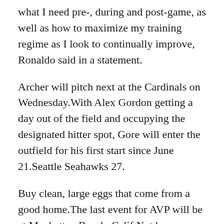what I need pre-, during and post-game, as well as how to maximize my training regime as I look to continually improve, Ronaldo said in a statement.
Archer will pitch next at the Cardinals on Wednesday.With Alex Gordon getting a day out of the field and occupying the designated hitter spot, Gore will enter the outfield for his first start since June 21.Seattle Seahawks 27.
Buy clean, large eggs that come from a good home.The last event for AVP will be at Manhattan Beach, Calif.Not because it’s offensive in any way, but because when you do Pad Thai right, it’s one of the best things you can eat.Not much has changed for Celeste over the years — the box with her face on it still looks like an unloved ’70s